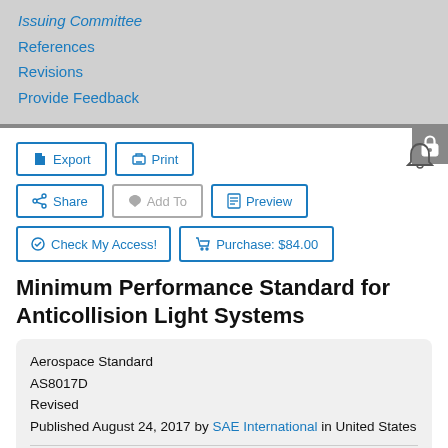Issuing Committee
References
Revisions
Provide Feedback
Minimum Performance Standard for Anticollision Light Systems
Aerospace Standard
AS8017D
Revised
Published August 24, 2017 by SAE International in United States
Sector:	Aerospace